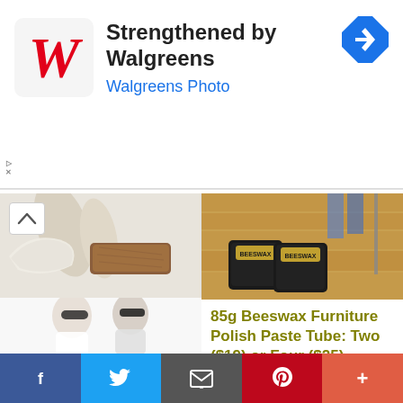[Figure (screenshot): Walgreens ad banner with logo, text 'Strengthened by Walgreens', 'Walgreens Photo', and navigation icon]
Tasman Aus Premium Australian Wool Unisex Insoles: One ($16) or Two ($26) (Don't Pay $60)
85g Beeswax Furniture Polish Paste Tube: Two ($19) or Four ($25)
[Figure (photo): People wearing sunglasses]
Facebook | Twitter | Email | Pinterest | More